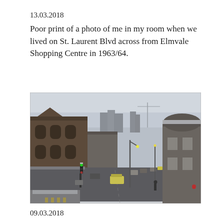13.03.2018
Poor print of a photo of me in my room when we lived on St. Laurent Blvd across from Elmvale Shopping Centre in 1963/64.
[Figure (photo): Overhead street-level view of a snowy urban boulevard with buildings on both sides, cars, and traffic lights. The scene shows a wide city street in winter with overcast sky.]
09.03.2018